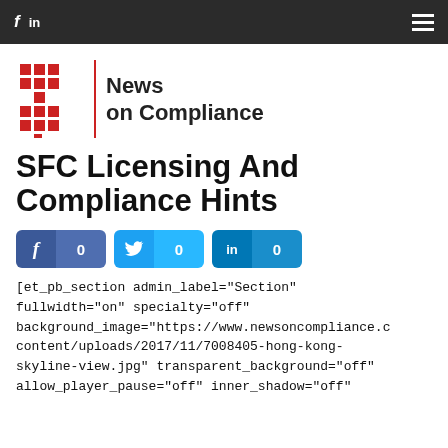f in [hamburger menu]
[Figure (logo): News on Compliance logo with red grid dots and vertical red line divider]
SFC Licensing And Compliance Hints
[Figure (infographic): Social share buttons: Facebook 0, Twitter 0, LinkedIn 0]
[et_pb_section admin_label="Section" fullwidth="on" specialty="off" background_image="https://www.newsoncompliance.c content/uploads/2017/11/7008405-hong-kong-skyline-view.jpg" transparent_background="off" allow_player_pause="off" inner_shadow="off"